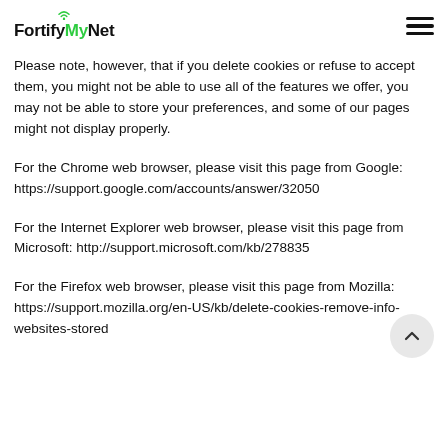FortifyMyNet
Please note, however, that if you delete cookies or refuse to accept them, you might not be able to use all of the features we offer, you may not be able to store your preferences, and some of our pages might not display properly.
For the Chrome web browser, please visit this page from Google: https://support.google.com/accounts/answer/32050
For the Internet Explorer web browser, please visit this page from Microsoft: http://support.microsoft.com/kb/278835
For the Firefox web browser, please visit this page from Mozilla: https://support.mozilla.org/en-US/kb/delete-cookies-remove-info-websites-stored